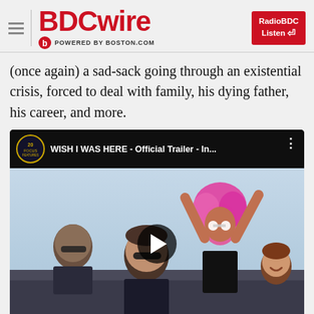BDCwire — POWERED BY BOSTON.COM
(once again) a sad-sack going through an existential crisis, forced to deal with family, his dying father, his career, and more.
[Figure (screenshot): YouTube video embed showing 'WISH I WAS HERE - Official Trailer - In...' with a scene of people in a convertible car, including a woman with pink hair raising her arms, a man with sunglasses, and a child smiling. A play button is visible in the center.]